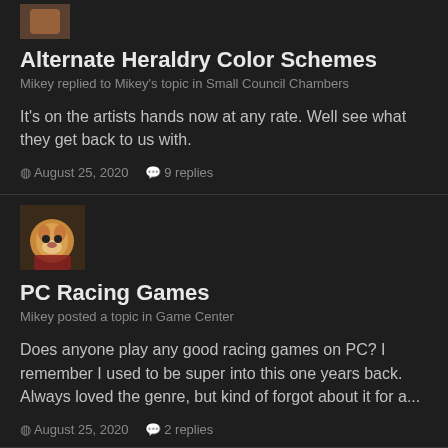[Figure (photo): Small avatar thumbnail of a user, partially visible at top]
Alternate Heraldry Color Schemes
Mikey replied to Mikey's topic in Small Council Chambers
It's on the artists hands now at any rate. Well see what they get back to us with.
August 25, 2020   9 replies
[Figure (photo): Avatar of a dog wearing a red outfit]
PC Racing Games
Mikey posted a topic in Game Center
Does anyone play any good racing games on PC? I remember I used to be super into this one years back. Always loved the genre, but kind of forgot about it for a...
August 25, 2020   2 replies